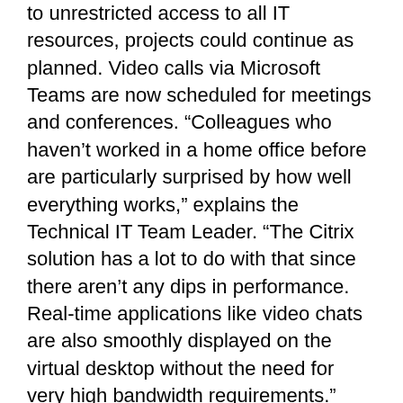to unrestricted access to all IT resources, projects could continue as planned. Video calls via Microsoft Teams are now scheduled for meetings and conferences. “Colleagues who haven’t worked in a home office before are particularly surprised by how well everything works,” explains the Technical IT Team Leader. “The Citrix solution has a lot to do with that since there aren’t any dips in performance. Real-time applications like video chats are also smoothly displayed on the virtual desktop without the need for very high bandwidth requirements.”
Work from home: a model with a future
Senior managers at the ABAG Group ultimately don’t have to worry that the home office strategy comes at the expense of data security. Since users only work with virtual applications and desktops